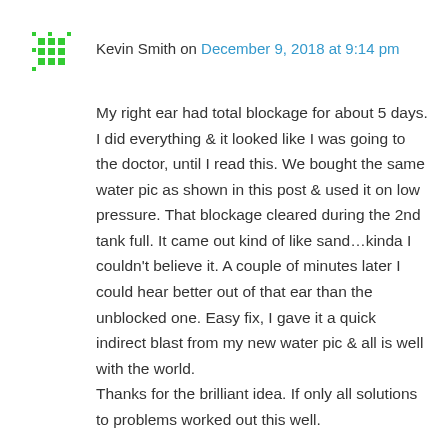[Figure (other): Green pixel/gravatar avatar icon for commenter Kevin Smith]
Kevin Smith on December 9, 2018 at 9:14 pm
My right ear had total blockage for about 5 days. I did everything & it looked like I was going to the doctor, until I read this. We bought the same water pic as shown in this post & used it on low pressure. That blockage cleared during the 2nd tank full. It came out kind of like sand…kinda I couldn't believe it. A couple of minutes later I could hear better out of that ear than the unblocked one. Easy fix, I gave it a quick indirect blast from my new water pic & all is well with the world.
Thanks for the brilliant idea. If only all solutions to problems worked out this well.